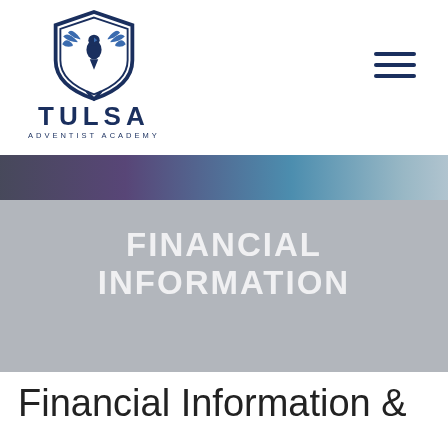[Figure (logo): Tulsa Adventist Academy shield logo with winged eagle emblem, with TULSA in bold navy and ADVENTIST ACADEMY in small caps below]
[Figure (photo): Partial view of a hero banner background photo (people/event, muted dark/blue/purple tones) overlaid with gray]
FINANCIAL INFORMATION
Financial Information &